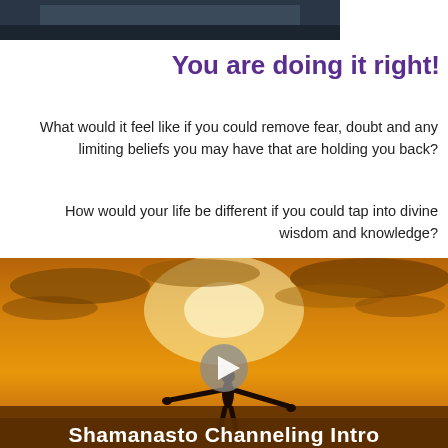[Figure (photo): Partial cropped photo at top of page, dark toned image]
You are doing it right!
What would it feel like if you could remove fear, doubt and any limiting beliefs you may have that are holding you back?
How would your life be different if you could tap into divine wisdom and knowledge?
[Figure (photo): Sunset photo with silhouette of a person with arms outstretched, a play button overlay, and the text 'Shamanasto Channeling Intro' at the bottom]